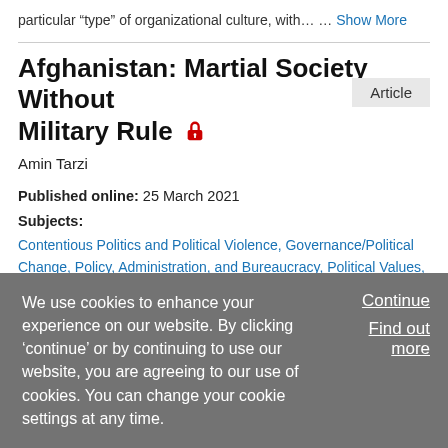particular “type” of organizational culture, with… … Show More
Article
Afghanistan: Martial Society Without Military Rule 🔒
Amin Tarzi
Published online: 25 March 2021
Subjects:
Contentious Politics and Political Violence, Governance/Political Change, Policy, Administration, and Bureaucracy, Political Values,
We use cookies to enhance your experience on our website. By clicking ‘continue’ or by continuing to use our website, you are agreeing to our use of cookies. You can change your cookie settings at any time.
Continue
Find out more